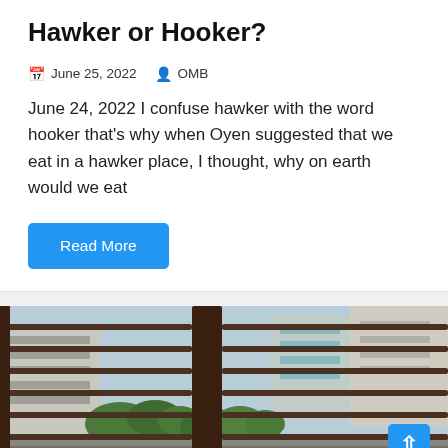Hawker or Hooker?
June 25, 2022  OMB
June 24, 2022 I confuse hawker with the word hooker that's why when Oyen suggested that we eat in a hawker place, I thought, why on earth would we eat
Read More
[Figure (photo): View through a window with metal grill bars, looking out at urban buildings and trees in a city environment. A blue scroll-to-top button is visible in the lower right corner.]